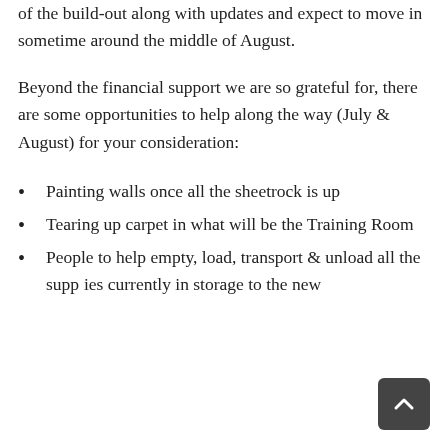of the build-out along with updates and expect to move in sometime around the middle of August.
Beyond the financial support we are so grateful for, there are some opportunities to help along the way (July & August) for your consideration:
Painting walls once all the sheetrock is up
Tearing up carpet in what will be the Training Room
People to help empty, load, transport & unload all the supplies currently in storage to the new